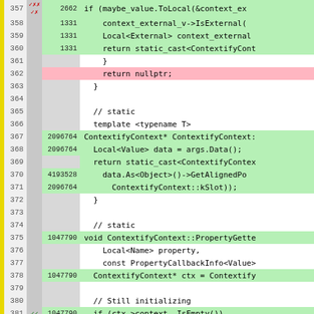[Figure (screenshot): Code coverage viewer showing C++ source lines 357-382 with line numbers, hit counts, coverage gutter markers, and color-coded background (green=covered, pink=uncovered, gray=not instrumented). Code includes contextify context methods.]